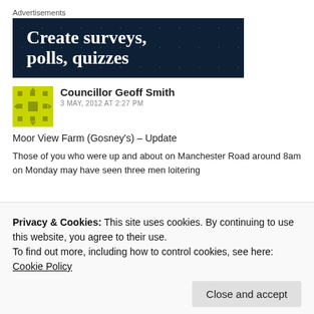Advertisements
[Figure (illustration): Dark navy blue advertisement banner with polka dot pattern showing text 'Create surveys, polls, quizzes']
Councillor Geoff Smith
3 MAY, 2012 AT 2:27 PM
Moor View Farm (Gosney's) – Update
Those of you who were up and about on Manchester Road around 8am on Monday may have seen three men loitering
Privacy & Cookies: This site uses cookies. By continuing to use this website, you agree to their use.
To find out more, including how to control cookies, see here: Cookie Policy
to the Planning Dept. and a bat survey have to be carried out